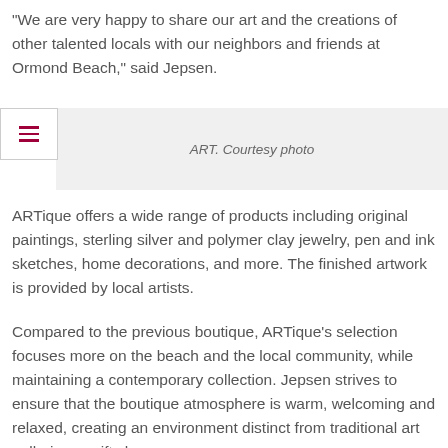“We are very happy to share our art and the creations of other talented locals with our neighbors and friends at Ormond Beach,” said Jepsen.
ART. Courtesy photo
ARTique offers a wide range of products including original paintings, sterling silver and polymer clay jewelry, pen and ink sketches, home decorations, and more. The finished artwork is provided by local artists.
Compared to the previous boutique, ARTique’s selection focuses more on the beach and the local community, while maintaining a contemporary collection. Jepsen strives to ensure that the boutique atmosphere is warm, welcoming and relaxed, creating an environment distinct from traditional art galleries or gift shops.